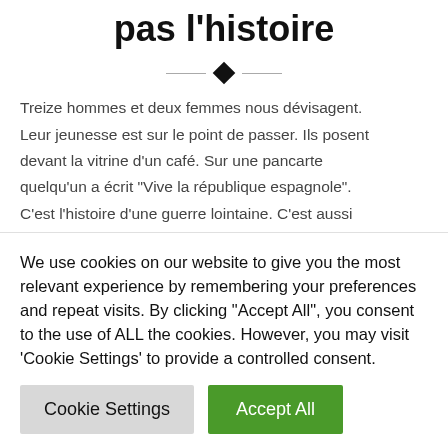pas l'histoire
Treize hommes et deux femmes nous dévisagent. Leur jeunesse est sur le point de passer. Ils posent devant la vitrine d'un café. Sur une pancarte quelqu'un a écrit "Vive la république espagnole". C'est l'histoire d'une guerre lointaine. C'est aussi
We use cookies on our website to give you the most relevant experience by remembering your preferences and repeat visits. By clicking "Accept All", you consent to the use of ALL the cookies. However, you may visit 'Cookie Settings' to provide a controlled consent.